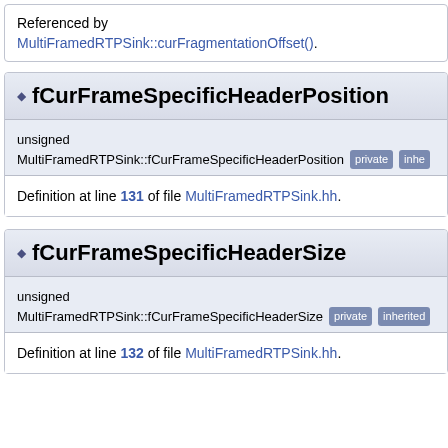Referenced by
MultiFramedRTPSink::curFragmentationOffset().
fCurFrameSpecificHeaderPosition
unsigned MultiFramedRTPSink::fCurFrameSpecificHeaderPosition [private] [inherited]
Definition at line 131 of file MultiFramedRTPSink.hh.
fCurFrameSpecificHeaderSize
unsigned MultiFramedRTPSink::fCurFrameSpecificHeaderSize [private] [inherited]
Definition at line 132 of file MultiFramedRTPSink.hh.